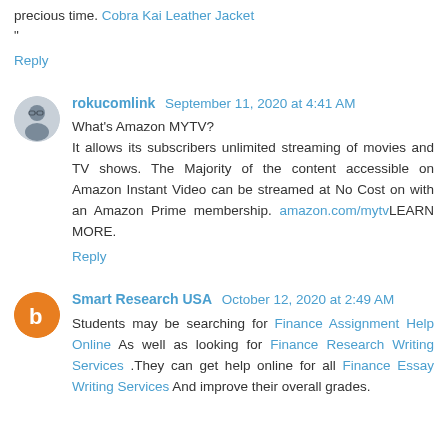precious time. Cobra Kai Leather Jacket
"
Reply
rokucomlink September 11, 2020 at 4:41 AM
What's Amazon MYTV?
It allows its subscribers unlimited streaming of movies and TV shows. The Majority of the content accessible on Amazon Instant Video can be streamed at No Cost on with an Amazon Prime membership. amazon.com/mytvLEARN MORE.
Reply
Smart Research USA October 12, 2020 at 2:49 AM
Students may be searching for Finance Assignment Help Online As well as looking for Finance Research Writing Services .They can get help online for all Finance Essay Writing Services And improve their overall grades.